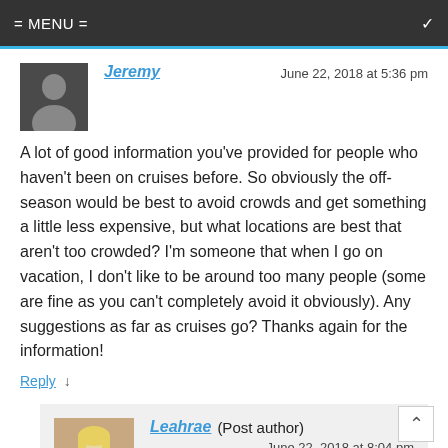= MENU =
Jeremy    June 22, 2018 at 5:36 pm
A lot of good information you've provided for people who haven't been on cruises before. So obviously the off-season would be best to avoid crowds and get something a little less expensive, but what locations are best that aren't too crowded? I'm someone that when I go on vacation, I don't like to be around too many people (some are fine as you can't completely avoid it obviously). Any suggestions as far as cruises go? Thanks again for the information!
Reply ↓
Leahrae (Post author)    June 22, 2018 at 8:04 pm
Any port in off season will be less crowded. The